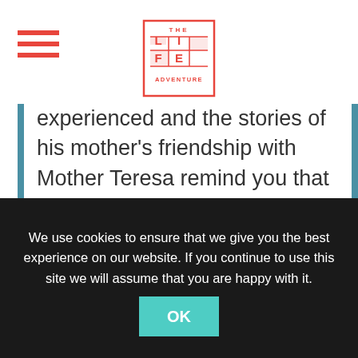[Figure (logo): THE LIFE ADVENTURE logo — red pixelated square logo with letters L I F E arranged in a grid pattern with 'THE' at top and 'ADVENTURE' at bottom]
experienced and the stories of his mother's friendship with Mother Teresa remind you that you're in the presence of a unique individual who's giving you a unique insight into the world. If you ever need reminding that the world is a stage and we are merely actors taking up our roles, then best let Shomitt lead you through it, with
We use cookies to ensure that we give you the best experience on our website. If you continue to use this site we will assume that you are happy with it.
OK